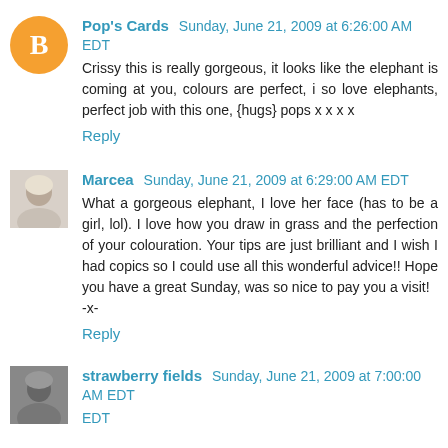Pop's Cards  Sunday, June 21, 2009 at 6:26:00 AM EDT
Crissy this is really gorgeous, it looks like the elephant is coming at you, colours are perfect, i so love elephants, perfect job with this one, {hugs} pops x x x x
Reply
Marcea  Sunday, June 21, 2009 at 6:29:00 AM EDT
What a gorgeous elephant, I love her face (has to be a girl, lol). I love how you draw in grass and the perfection of your colouration. Your tips are just brilliant and I wish I had copics so I could use all this wonderful advice!! Hope you have a great Sunday, was so nice to pay you a visit!
-x-
Reply
strawberry fields  Sunday, June 21, 2009 at 7:00:00 AM EDT